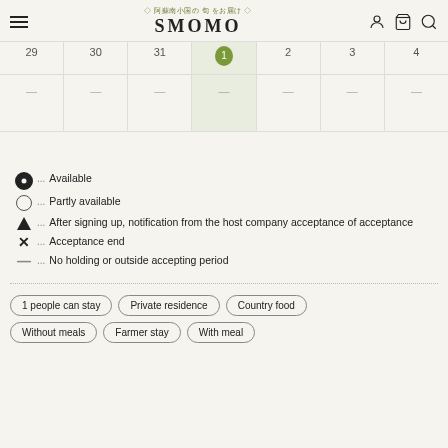阿蘇南小国の旬をお届け SMOMO
[Figure (table-as-image): Calendar strip showing dates 29, 30, 31, 1, 2, 3, 4 with dash symbols in cells]
● ... Available
○ ... Partly available
▲ ... After signing up, notification from the host company acceptance of acceptance
× ... Acceptance end
— ... No holding or outside accepting period
1 people can stay | Private residence | Country food | Without meals | Farmer stay | With meal